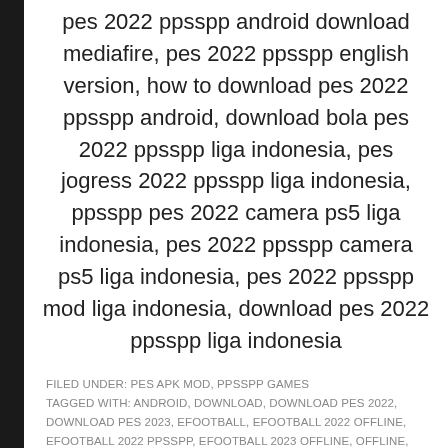pes 2022 ppsspp android download mediafire, pes 2022 ppsspp english version, how to download pes 2022 ppsspp android, download bola pes 2022 ppsspp liga indonesia, pes jogress 2022 ppsspp liga indonesia, ppsspp pes 2022 camera ps5 liga indonesia, pes 2022 ppsspp camera ps5 liga indonesia, pes 2022 ppsspp mod liga indonesia, download pes 2022 ppsspp liga indonesia
FILED UNDER: PES APK MOD, PPSSPP GAMES
TAGGED WITH: ANDROID, DOWNLOAD, DOWNLOAD PES 2022, DOWNLOAD PES 2023, EFOOTBALL, EFOOTBALL 2022 OFFLINE, EFOOTBALL 2022 PPSSPP, EFOOTBALL 2023 OFFLINE, OFFLINE, PES, PES 2022 ISO, PES 2022 OFFLINE, PES 2022 PPSSPP, PES 2023 KITS, PES 22, PES 23, PPSSPP, PRO EVOLUTION SOCCER
eFootball 2023 APK Patch